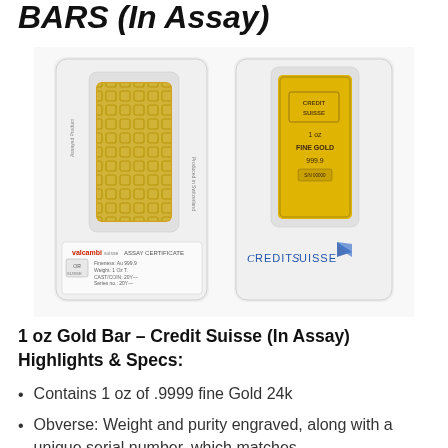BARS (In Assay)
[Figure (photo): Two Credit Suisse 1 oz gold bars in assay packaging. Left shows the back with Valcambi assay certificate. Right shows the front with Credit Suisse branding, 1 oz Fine Gold 999.9 engraving.]
1 oz Gold Bar – Credit Suisse (In Assay) Highlights & Specs:
Contains 1 oz of .9999 fine Gold 24k
Obverse: Weight and purity engraved, along with a unique serial number, which matches